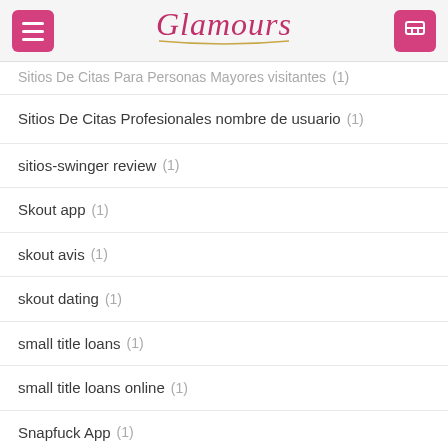Glamours
Sitios De Citas Para Personas Mayores visitantes (1)
Sitios De Citas Profesionales nombre de usuario (1)
sitios-swinger review (1)
Skout app (1)
skout avis (1)
skout dating (1)
small title loans (1)
small title loans online (1)
Snapfuck App (1)
snapfuck de review (1)